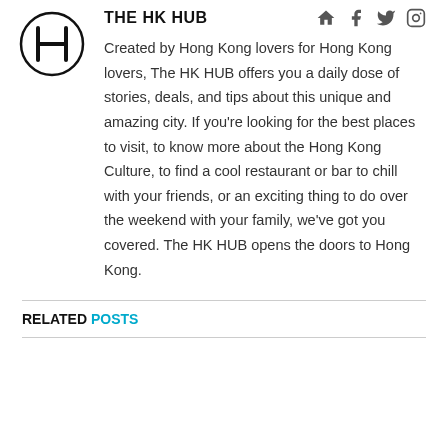[Figure (logo): The HK HUB logo: a circle with the letter H inside]
The HK HUB
Created by Hong Kong lovers for Hong Kong lovers, The HK HUB offers you a daily dose of stories, deals, and tips about this unique and amazing city. If you're looking for the best places to visit, to know more about the Hong Kong Culture, to find a cool restaurant or bar to chill with your friends, or an exciting thing to do over the weekend with your family, we've got you covered. The HK HUB opens the doors to Hong Kong.
RELATED POSTS